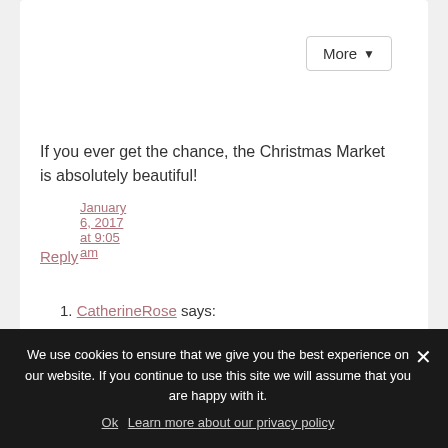January 6, 2017 at 9:05 am
If you ever get the chance, the Christmas Market is absolutely beautiful!
Reply
1. CatherineRose says:
Follow me on:
[Figure (infographic): Social media icons in circles: Facebook, Instagram, Pinterest, Twitter, Bloglovin, RSS]
Or sign up to my newsletter
We use cookies to ensure that we give you the best experience on our website. If you continue to use this site we will assume that you are happy with it.
Ok  Learn more about our privacy policy